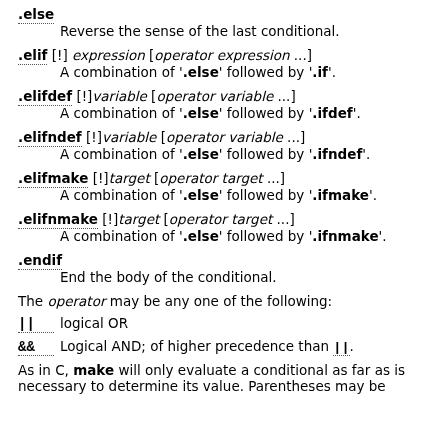.else — Reverse the sense of the last conditional.
.elif [!] expression [operator expression ...] — A combination of '.else' followed by '.if'.
.elifdef [!]variable [operator variable ...] — A combination of '.else' followed by '.ifdef'.
.elifndef [!]variable [operator variable ...] — A combination of '.else' followed by '.ifndef'.
.elifmake [!]target [operator target ...] — A combination of '.else' followed by '.ifmake'.
.elifnmake [!]target [operator target ...] — A combination of '.else' followed by '.ifnmake'.
.endif — End the body of the conditional.
The operator may be any one of the following:
|| logical OR
&& Logical AND; of higher precedence than ||.
As in C, make will only evaluate a conditional as far as is necessary to determine its value. Parentheses may be